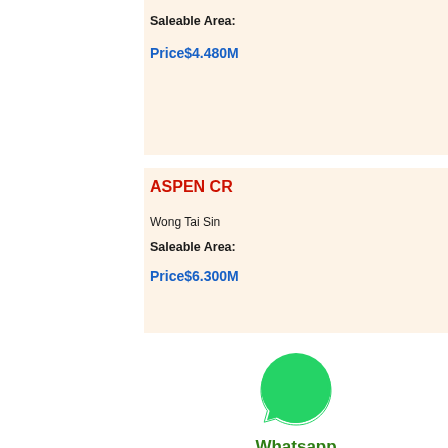Saleable Area:
Price$4.480M
ASPEN CR
Wong Tai Sin
Saleable Area:
Price$6.300M
[Figure (logo): WhatsApp green speech bubble with phone icon]
Whatsapp
Enquiry Now